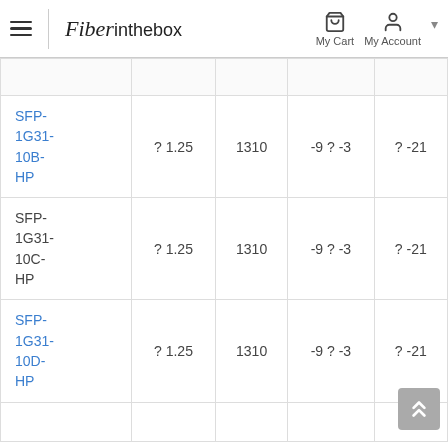Fiberinthebox — My Cart, My Account navigation
| Product | Speed (Gbps) | Wavelength (nm) | Tx Power (dBm) | Rx Sensitivity (dBm) |
| --- | --- | --- | --- | --- |
| SFP-1G31-10B-HP | ? 1.25 | 1310 | -9 ? -3 | ? -21 |
| SFP-1G31-10C-HP | ? 1.25 | 1310 | -9 ? -3 | ? -21 |
| SFP-1G31-10D-HP | ? 1.25 | 1310 | -9 ? -3 | ? -21 |